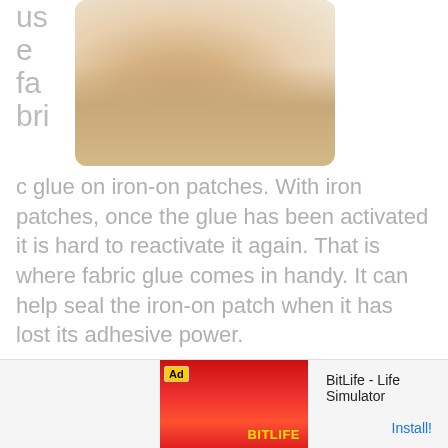[Figure (photo): Partial photo of a person's hand/finger with a ring, on a light fabric background, showing upper right portion of page]
use fabric glue on iron-on patches. With iron patches, once the glue has been activated it is hard to reactivate it again. That is where fabric glue comes in handy. It can help seal the iron-on patch when it has lost its adhesive power.
[Figure (screenshot): Advertisement banner for BitLife - Life Simulator app with red background, game screenshot thumbnail, Ad badge, app name and Install button]